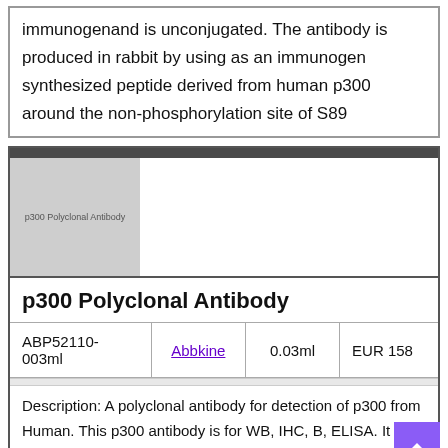immunogenand is unconjugated. The antibody is produced in rabbit by using as an immunogen synthesized peptide derived from human p300 around the non-phosphorylation site of S89
[Figure (photo): Product image placeholder showing p300 Polyclonal Antibody label]
p300 Polyclonal Antibody
| ABP52110-003ml | Abbkine | 0.03ml | EUR 158 |
Description: A polyclonal antibody for detection of p300 from Human. This p300 antibody is for WB, IHC, B, ELISA. It is affinity purified from rabbit